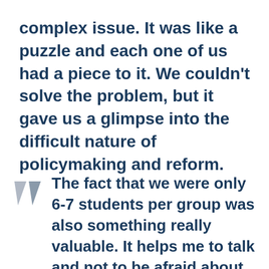complex issue. It was like a puzzle and each one of us had a piece to it. We couldn't solve the problem, but it gave us a glimpse into the difficult nature of policymaking and reform.
The fact that we were only 6-7 students per group was also something really valuable. It helps me to talk and not to be afraid about what people would think of my accent and my ideas. I was lucky